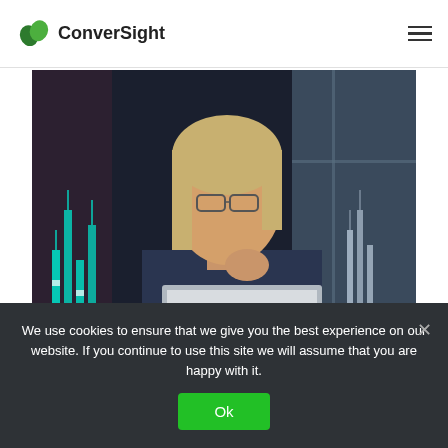[Figure (logo): ConverSight logo with green leaf/circle icon and text 'ConverSight']
[Figure (photo): Woman with glasses looking at a laptop, with overlaid financial chart graphics in teal/red/white on dark background]
We use cookies to ensure that we give you the best experience on our website. If you continue to use this site we will assume that you are happy with it.
Ok